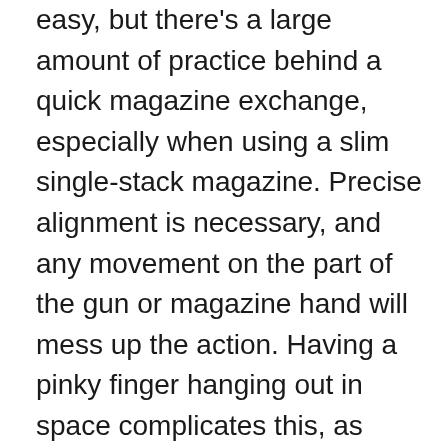easy, but there's a large amount of practice behind a quick magazine exchange, especially when using a slim single-stack magazine. Precise alignment is necessary, and any movement on the part of the gun or magazine hand will mess up the action. Having a pinky finger hanging out in space complicates this, as does pinching the hand between the magazine and grip frame as it slams home.
These drawbacks can be overcome, but it will take some practice, so understand the downsides of extreme compactness before buying. And don t underestimate the amount of